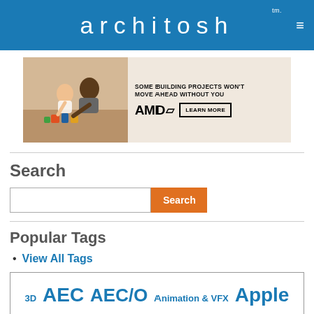architosh™
[Figure (photo): Advertisement banner for AMD featuring a photo of a father and child playing with building blocks, with text 'SOME BUILDING PROJECTS WON'T MOVE AHEAD WITHOUT YOU' and AMD logo with 'LEARN MORE' button]
Search
Search input field with Search button
Popular Tags
View All Tags
3D AEC AEC/O Animation & VFX Apple ArchiCAD Architecture Architecture visualization